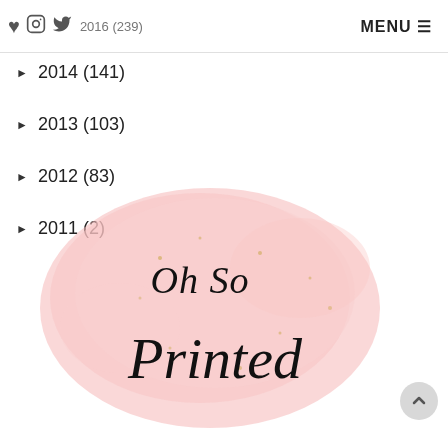January (25) | 2016 (239) | MENU
► 2014 (141)
► 2013 (103)
► 2012 (83)
► 2011 (2)
[Figure (logo): Oh So Printed logo — cursive black script text on a soft pink watercolor blob background with gold speckle dots]